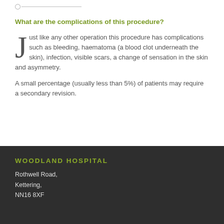What are the complications of this procedure?
Just like any other operation this procedure has complications such as bleeding, haematoma (a blood clot underneath the skin), infection, visible scars, a change of sensation in the skin and asymmetry.
A small percentage (usually less than 5%) of patients may require a secondary revision.
WOODLAND HOSPITAL
Rothwell Road,
Kettering,
NN16 8XF